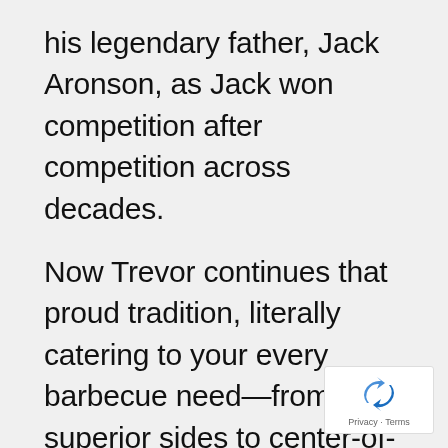his legendary father, Jack Aronson, as Jack won competition after competition across decades.

Now Trevor continues that proud tradition, literally catering to your every barbecue need—from superior sides to center-of-the-plate succulence.
[Figure (logo): reCAPTCHA badge with rotating arrows icon and 'Privacy - Terms' text]